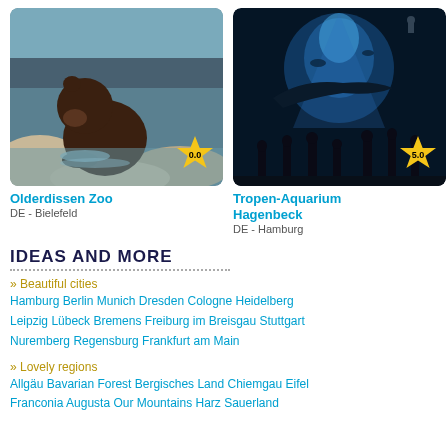[Figure (photo): Brown bear wading in water at Olderdissen Zoo]
[Figure (photo): Underwater aquarium view at Tropen-Aquarium Hagenbeck with visitors silhouetted]
Olderdissen Zoo
DE - Bielefeld
Tropen-Aquarium Hagenbeck
DE - Hamburg
IDEAS AND MORE
» Beautiful cities
Hamburg  Berlin  Munich  Dresden  Cologne  Heidelberg  Leipzig  Lübeck  Bremens  Freiburg im Breisgau  Stuttgart  Nuremberg  Regensburg  Frankfurt am Main
» Lovely regions
Allgäu  Bavarian Forest  Bergisches Land  Chiemgau  Eifel  Franconia  Augusta  Our Mountains  Harz  Sauerland